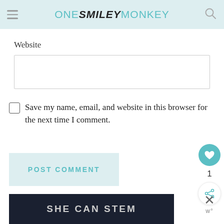ONE SMILEY MONKEY
Website
Save my name, email, and website in this browser for the next time I comment.
POST COMMENT
Confirm you are NOT a spammer
[Figure (screenshot): SHE CAN STEM dark banner image at bottom of page]
1